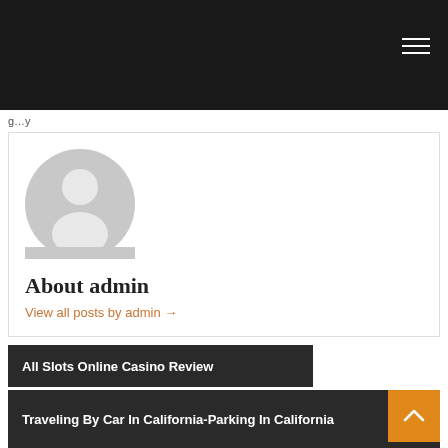g...y
[Figure (illustration): Default grey avatar/user silhouette icon — circular head and rounded torso on grey background]
About admin
View all posts by admin →
All Slots Online Casino Review
Traveling By Car In California-Parking In California